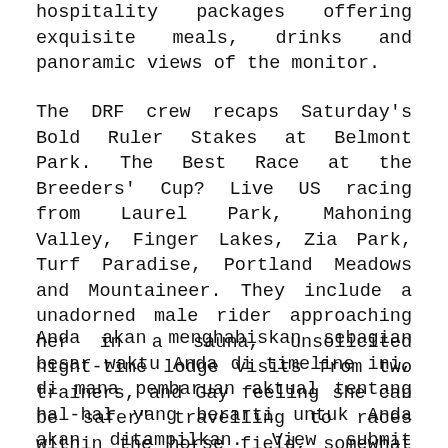hospitality packages offering exquisite meals, drinks and panoramic views of the monitor.
The DRF crew recaps Saturday's Bold Ruler Stakes at Belmont Park. The Best Race at the Breeders' Cup? Live US racing from Laurel Park, Mahoning Valley, Finger Lakes, Zia Park, Turf Paradise, Portland Meadows and Mountaineer. They include a unadorned male rider approaching her in a sauna, unsolicited night-time lodge visits from two trainers, and Gay feeling she can be safer" travelling to races within the horse field, somewhat than accept lifts and face unwanted advances.
Anda akan menghabiskan sebagian besar waktu Anda di timeline ini, di mana pembaruan aktual tentang hal-hal yang berarti untuk Anda akan ditampilkan. View submit race interviews from connections at Ascot and Belmont Park race meetings. Designates a race during which international-